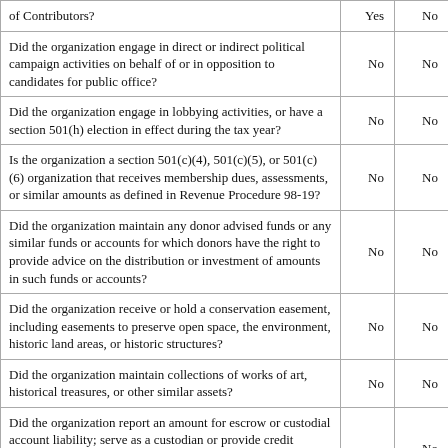| Question | Yes | No |
| --- | --- | --- |
| of Contributors? |  | No |
| Did the organization engage in direct or indirect political campaign activities on behalf of or in opposition to candidates for public office? | No | No |
| Did the organization engage in lobbying activities, or have a section 501(h) election in effect during the tax year? | No | No |
| Is the organization a section 501(c)(4), 501(c)(5), or 501(c)(6) organization that receives membership dues, assessments, or similar amounts as defined in Revenue Procedure 98-19? | No | No |
| Did the organization maintain any donor advised funds or any similar funds or accounts for which donors have the right to provide advice on the distribution or investment of amounts in such funds or accounts? | No | No |
| Did the organization receive or hold a conservation easement, including easements to preserve open space, the environment, historic land areas, or historic structures? | No | No |
| Did the organization maintain collections of works of art, historical treasures, or other similar assets? | No | No |
| Did the organization report an amount for escrow or custodial account liability; serve as a custodian or provide credit counseling, debt management, credit repair, or debt negotiation services? |  | No |
| Did the organization disclose the other related... |  |  |